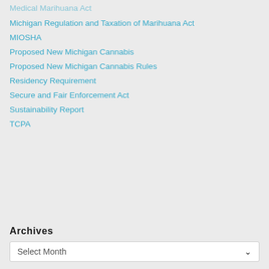Medical Marihuana Act
Michigan Regulation and Taxation of Marihuana Act
MIOSHA
Proposed New Michigan Cannabis
Proposed New Michigan Cannabis Rules
Residency Requirement
Secure and Fair Enforcement Act
Sustainability Report
TCPA
Archives
Select Month